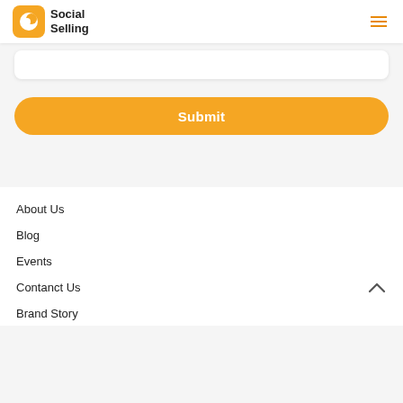Social Selling
[Figure (screenshot): Input text box (white rounded rectangle form field)]
[Figure (screenshot): Orange rounded Submit button]
About Us
Blog
Events
Contanct Us
Brand Story